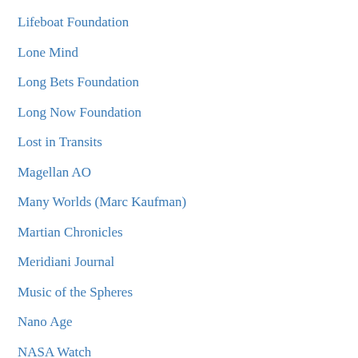Lifeboat Foundation
Lone Mind
Long Bets Foundation
Long Now Foundation
Lost in Transits
Magellan AO
Many Worlds (Marc Kaufman)
Martian Chronicles
Meridiani Journal
Music of the Spheres
Nano Age
NASA Watch
NASA-UC Eta-Earth Survey
New Papyrus
Next Big Future